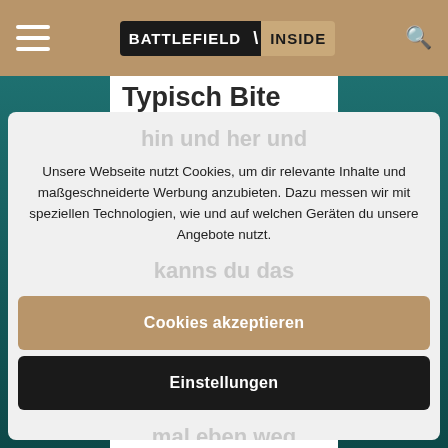BATTLEFIELD INSIDE
Typisch Bite wieder.Die kriegen einfach seit bf4 keine gute Ballance
Unsere Webseite nutzt Cookies, um dir relevante Inhalte und maßgeschneiderte Werbung anzubieten. Dazu messen wir mit speziellen Technologien, wie und auf welchen Geräten du unsere Angebote nutzt.
Cookies akzeptieren
Einstellungen
nicht.